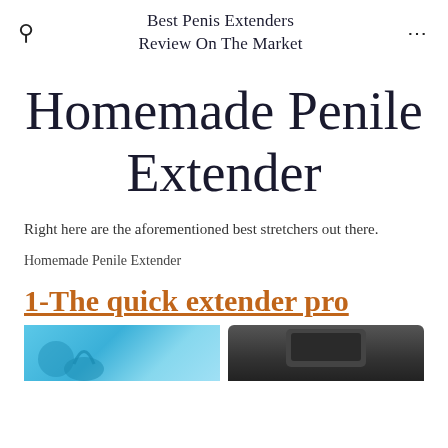Best Penis Extenders Review On The Market
Homemade Penile Extender
Right here are the aforementioned best stretchers out there.
Homemade Penile Extender
1-The quick extender pro
[Figure (photo): Product image showing two items side by side — a blue background product on the left and a dark device on the right]